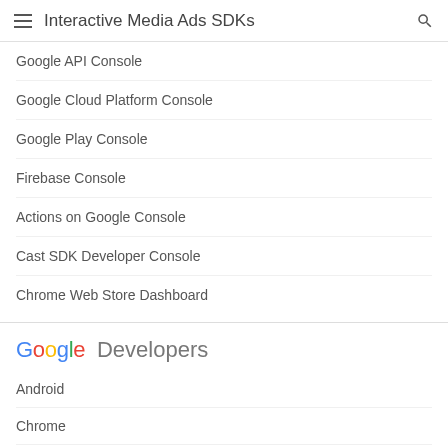Interactive Media Ads SDKs
Google API Console
Google Cloud Platform Console
Google Play Console
Firebase Console
Actions on Google Console
Cast SDK Developer Console
Chrome Web Store Dashboard
[Figure (logo): Google Developers logo with colored Google text and grey Developers text]
Android
Chrome
Firebase